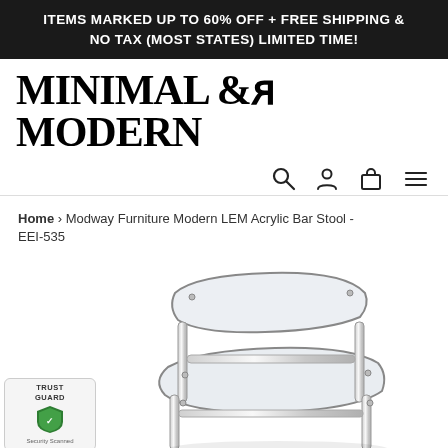ITEMS MARKED UP TO 60% OFF + FREE SHIPPING & NO TAX (MOST STATES) LIMITED TIME!
MINIMAL & MODERN
[Figure (logo): Navigation icons: search magnifying glass, user profile circle, shopping bag/cart, and hamburger menu lines]
Home › Modway Furniture Modern LEM Acrylic Bar Stool - EEI-535
[Figure (photo): Modway Furniture Modern LEM Acrylic Bar Stool - a transparent/clear acrylic seat with chrome/steel tubular frame legs, viewed from a slight angle showing the backrest and seat]
[Figure (other): Trust Guard Security Scanned badge - shield logo in green with text TRUST GUARD and Security Scanned]